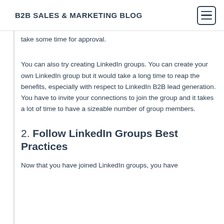B2B SALES & MARKETING BLOG
take some time for approval.
You can also try creating LinkedIn groups. You can create your own LinkedIn group but it would take a long time to reap the benefits, especially with respect to LinkedIn B2B lead generation. You have to invite your connections to join the group and it takes a lot of time to have a sizeable number of group members.
2. Follow LinkedIn Groups Best Practices
Now that you have joined LinkedIn groups, you have